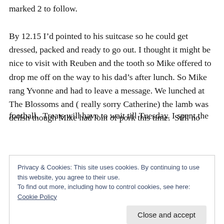marked 2 to follow.
By 12.15 I’d pointed to his suitcase so he could get dressed, packed and ready to go out. I thought it might be nice to visit with Reuben and the tooth so Mike offered to drop me off on the way to his dad’s after lunch. So Mike rang Yvonne and had to leave a message. We lunched at The Blossoms and ( really sorry Catherine) the lamb was delish though Mike had loin of pork this time. Still no
football.  Treats will have to wait till Tuesday. I spent the
Privacy & Cookies: This site uses cookies. By continuing to use this website, you agree to their use.
To find out more, including how to control cookies, see here: Cookie Policy